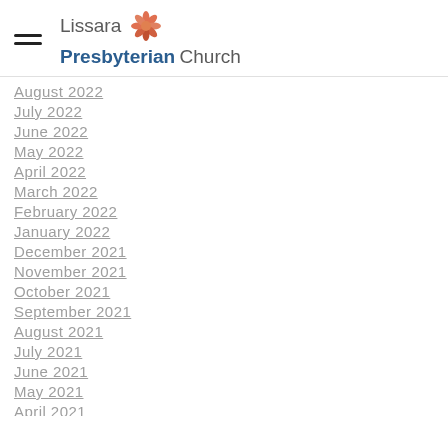Lissara Presbyterian Church
August 2022
July 2022
June 2022
May 2022
April 2022
March 2022
February 2022
January 2022
December 2021
November 2021
October 2021
September 2021
August 2021
July 2021
June 2021
May 2021
April 2021